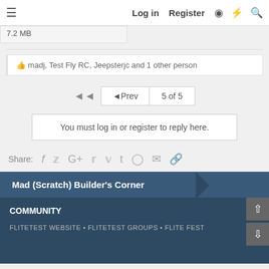Log in  Register
7.2 MB
👍 madj, Test Fly RC, Jeepsterjc and 1 other person
◄Prev  5 of 5
You must log in or register to reply here.
Share:  (social icons: Facebook, Twitter, Google+, Reddit, Pinterest, Tumblr, WhatsApp, Email, Link)
Mad (Scratch) Builder's Corner
COMMUNITY
FLITETEST WEBSITE • FLITETEST GROUPS • FLITE FEST